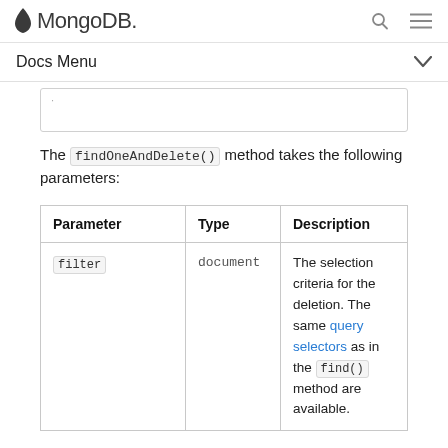MongoDB
Docs Menu
The findOneAndDelete() method takes the following parameters:
| Parameter | Type | Description |
| --- | --- | --- |
| filter | document | The selection criteria for the deletion. The same query selectors as in the find() method are available. |